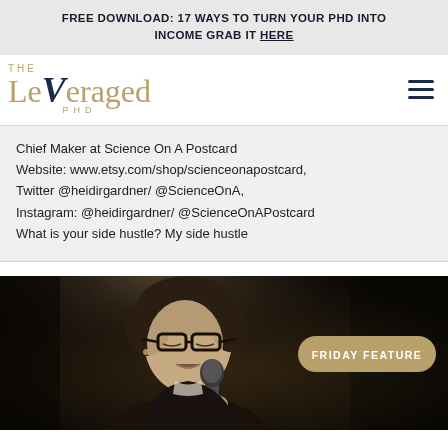FREE DOWNLOAD: 17 WAYS TO TURN YOUR PHD INTO INCOME GRAB IT HERE
[Figure (logo): The Leveraged PHD logo with stylized V in navy blue and gold lettering]
Chief Maker at Science On A Postcard Website: www.etsy.com/shop/scienceonapostcard, Twitter @heidirgardner/ @ScienceOnA, Instagram: @heidirgardner/ @ScienceOnAPostcard What is your side hustle? My side hustle
[Figure (photo): Black and white photo of a woman with glasses and curly hair singing into a microphone, with a 'FRIDAY FEATURE' badge overlay in gold/tan color]